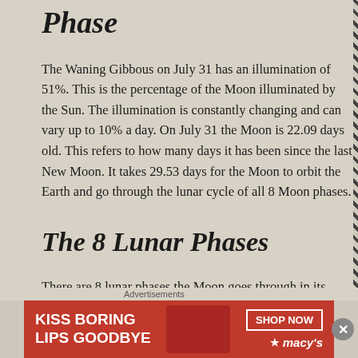Phase
The Waning Gibbous on July 31 has an illumination of 51%. This is the percentage of the Moon illuminated by the Sun. The illumination is constantly changing and can vary up to 10% a day. On July 31 the Moon is 22.09 days old. This refers to how many days it has been since the last New Moon. It takes 29.53 days for the Moon to orbit the Earth and go through the lunar cycle of all 8 Moon phases.
The 8 Lunar Phases
There are 8 lunar phases the Moon goes through in its 29.53 days lunar cycle. The 4 major Moon phases are Full Moon
Advertisements
[Figure (illustration): Advertisement banner for Macy's: 'Kiss Boring Lips Goodbye' with a SHOP NOW button and Macy's star logo on a red background]